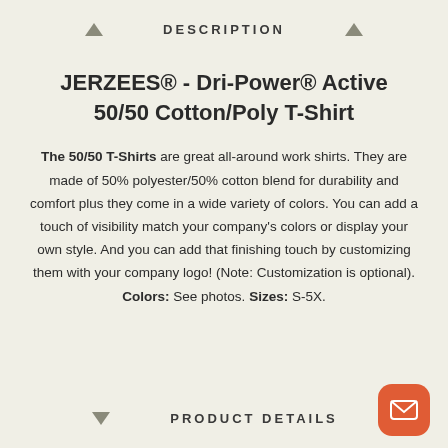DESCRIPTION
JERZEES® - Dri-Power® Active 50/50 Cotton/Poly T-Shirt
The 50/50 T-Shirts are great all-around work shirts. They are made of 50% polyester/50% cotton blend for durability and comfort plus they come in a wide variety of colors. You can add a touch of visibility match your company's colors or display your own style. And you can add that finishing touch by customizing them with your company logo! (Note: Customization is optional). Colors: See photos. Sizes: S-5X.
PRODUCT DETAILS